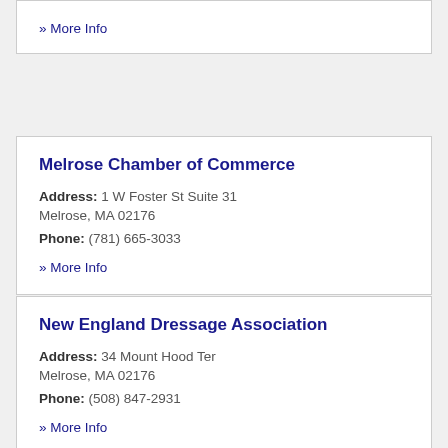» More Info
Melrose Chamber of Commerce
Address: 1 W Foster St Suite 31 Melrose, MA 02176
Phone: (781) 665-3033
» More Info
New England Dressage Association
Address: 34 Mount Hood Ter Melrose, MA 02176
Phone: (508) 847-2931
» More Info